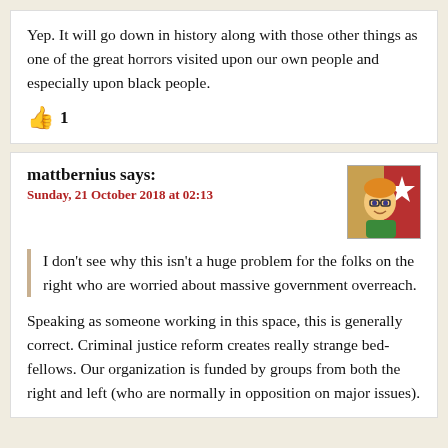Yep. It will go down in history along with those other things as one of the great horrors visited upon our own people and especially upon black people.
👍 1
mattbernius says:
Sunday, 21 October 2018 at 02:13
I don't see why this isn't a huge problem for the folks on the right who are worried about massive government overreach.
Speaking as someone working in this space, this is generally correct. Criminal justice reform creates really strange bed-fellows. Our organization is funded by groups from both the right and left (who are normally in opposition on major issues).